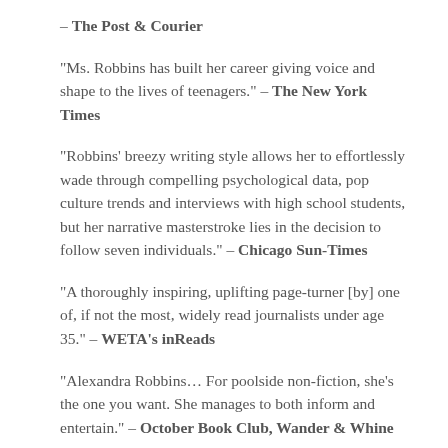– The Post & Courier
“Ms. Robbins has built her career giving voice and shape to the lives of teenagers.” – The New York Times
“Robbins’ breezy writing style allows her to effortlessly wade through compelling psychological data, pop culture trends and interviews with high school students, but her narrative masterstroke lies in the decision to follow seven individuals.” – Chicago Sun-Times
“A thoroughly inspiring, uplifting page-turner [by] one of, if not the most, widely read journalists under age 35.” – WETA’s inReads
“Alexandra Robbins… For poolside non-fiction, she’s the one you want. She manages to both inform and entertain.” – October Book Club, Wander & Whine